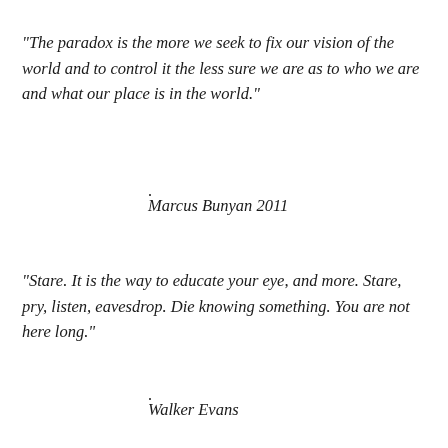“The paradox is the more we seek to fix our vision of the world and to control it the less sure we are as to who we are and what our place is in the world.”
.
Marcus Bunyan 2011
“Stare. It is the way to educate your eye, and more. Stare, pry, listen, eavesdrop. Die knowing something. You are not here long.”
.
Walker Evans